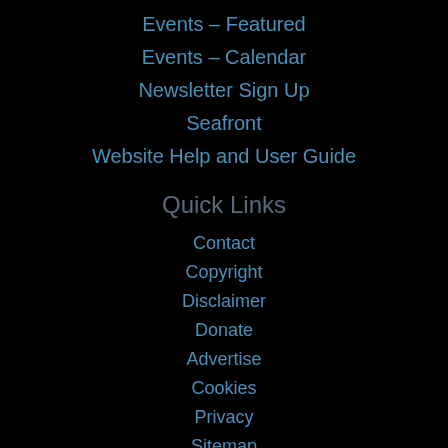Events – Featured
Events – Calendar
Newsletter Sign Up
Seafront
Website Help and User Guide
Quick Links
Contact
Copyright
Disclaimer
Donate
Advertise
Cookies
Privacy
Sitemap